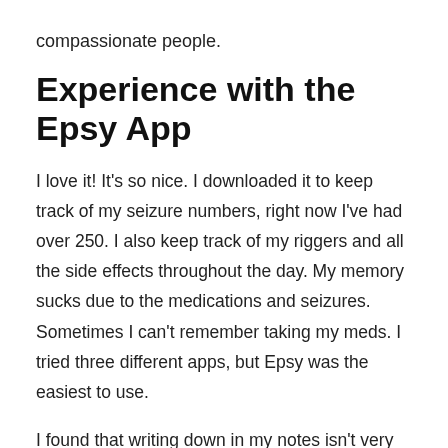compassionate people.
Experience with the Epsy App
I love it! It's so nice. I downloaded it to keep track of my seizure numbers, right now I've had over 250. I also keep track of my riggers and all the side effects throughout the day. My memory sucks due to the medications and seizures. Sometimes I can't remember taking my meds. I tried three different apps, but Epsy was the easiest to use.
I found that writing down in my notes isn't very organized, definitely not in the way that Epsy is. The app is a great way to centralize, and see